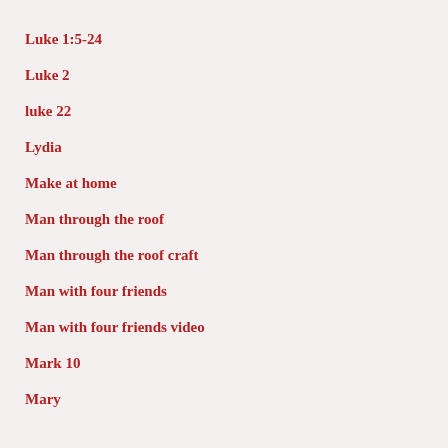Luke 1:5-24
Luke 2
luke 22
Lydia
Make at home
Man through the roof
Man through the roof craft
Man with four friends
Man with four friends video
Mark 10
Mary